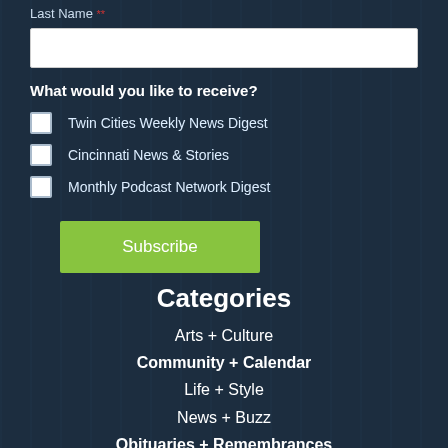Last Name **
[input field]
What would you like to receive?
Twin Cities Weekly News Digest
Cincinnati News & Stories
Monthly Podcast Network Digest
Subscribe
Categories
Arts + Culture
Community + Calendar
Life + Style
News + Buzz
Obituaries + Remembrances